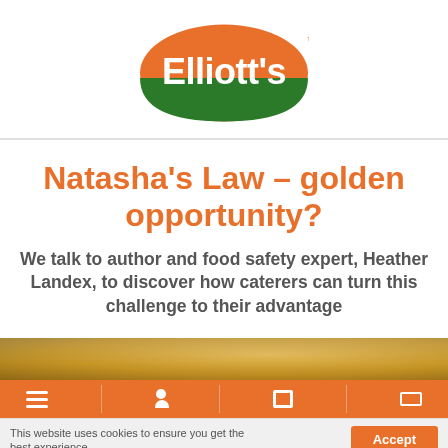[Figure (logo): Elliott's brand logo: orange and green oval with white cursive text 'Elliott's']
Natasha's Law – golden opportunity?
We talk to author and food safety expert, Heather Landex, to discover how caterers can turn this challenge to their advantage
[Figure (photo): Partial photo of food items, cropped at bottom of visible page]
This website uses cookies to ensure you get the best experience  [Accept]